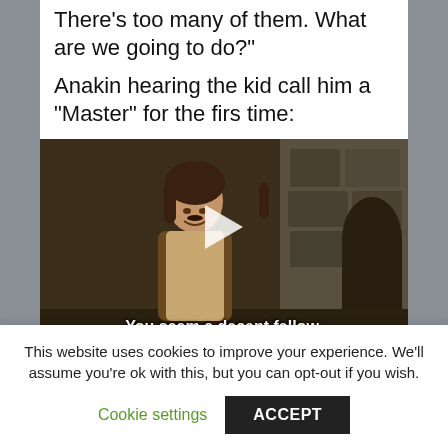There’s too many of them. What are we going to do?"
Anakin hearing the kid call him a “Master” for the firs time:
[Figure (screenshot): Video screenshot of a man from The Princess Bride with subtitle text: 'You seem a decent fellow. I hate to kill you.' A play button overlay is visible in the center top area.]
This website uses cookies to improve your experience. We’ll assume you’re ok with this, but you can opt-out if you wish.
Cookie settings
ACCEPT